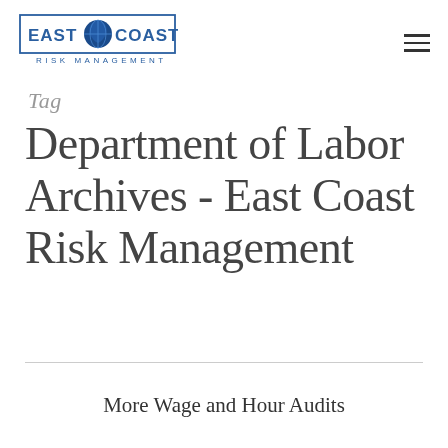[Figure (logo): East Coast Risk Management logo with blue globe icon and blue text]
Tag
Department of Labor Archives - East Coast Risk Management
More Wage and Hour Audits